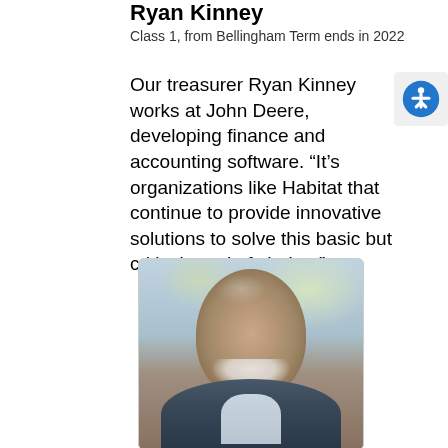Ryan Kinney
Class 1, from Bellingham Term ends in 2022
Our treasurer Ryan Kinney works at John Deere, developing finance and accounting software. “It’s organizations like Habitat that continue to provide innovative solutions to solve this basic but critical need of shelter.”
[Figure (photo): Portrait photo of Ryan Kinney, a bald older man with a white goatee beard, wearing a dark fleece jacket with a light blue collar shirt, photographed outdoors.]